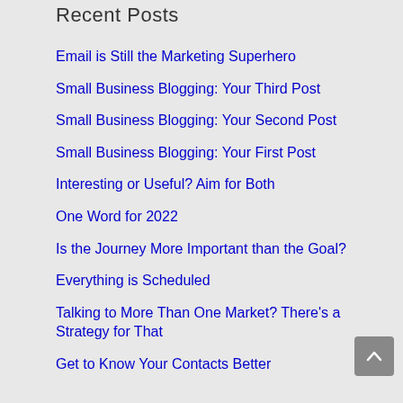Recent Posts
Email is Still the Marketing Superhero
Small Business Blogging: Your Third Post
Small Business Blogging: Your Second Post
Small Business Blogging: Your First Post
Interesting or Useful? Aim for Both
One Word for 2022
Is the Journey More Important than the Goal?
Everything is Scheduled
Talking to More Than One Market? There's a Strategy for That
Get to Know Your Contacts Better